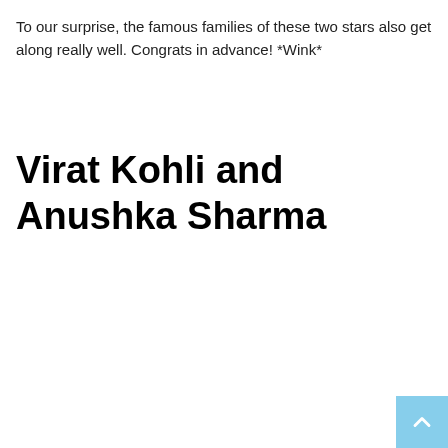To our surprise, the famous families of these two stars also get along really well. Congrats in advance! *Wink*
Virat Kohli and Anushka Sharma